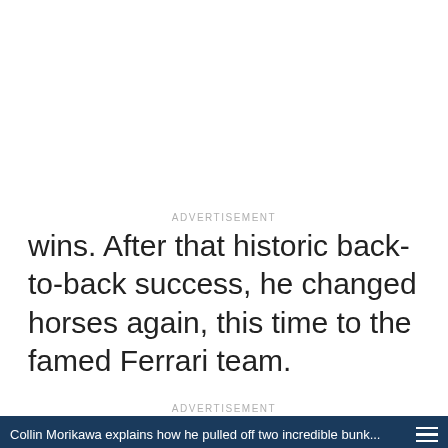ADVERTISEMENT
wins. After that historic back-to-back success, he changed horses again, this time to the famed Ferrari team.
ADVERTISEMENT
[Figure (screenshot): Video embed with dark blue header bar showing title 'Collin Morikawa explains how he pulled off two incredible bunk...' with hamburger menu icon, and video thumbnail showing a golfer standing near a sand bunker on a golf course, with a yellow mute button in the lower left.]